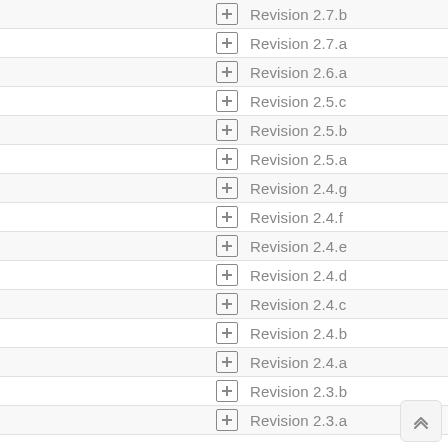Revision 2.7.b
Revision 2.7.a
Revision 2.6.a
Revision 2.5.c
Revision 2.5.b
Revision 2.5.a
Revision 2.4.g
Revision 2.4.f
Revision 2.4.e
Revision 2.4.d
Revision 2.4.c
Revision 2.4.b
Revision 2.4.a
Revision 2.3.b
Revision 2.3.a